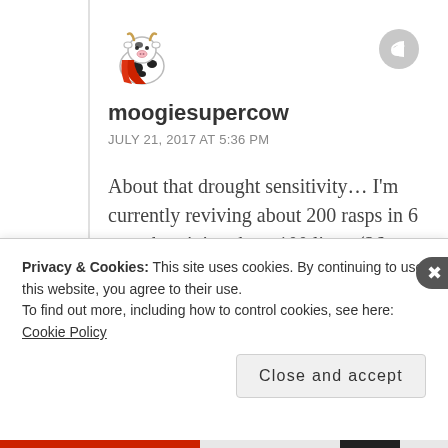[Figure (illustration): Small cartoon avatar of a cow wearing a red cape, like a superhero cow mascot]
moogiesupercow
JULY 21, 2017 AT 5:36 PM
About that drought sensitivity… I'm currently reviving about 200 rasps in 6 rows by giving them 100 liters (26 gallons) per row every 3 days. They are young plants. Due to too many things to do I've been
Privacy & Cookies: This site uses cookies. By continuing to use this website, you agree to their use.
To find out more, including how to control cookies, see here: Cookie Policy
Close and accept